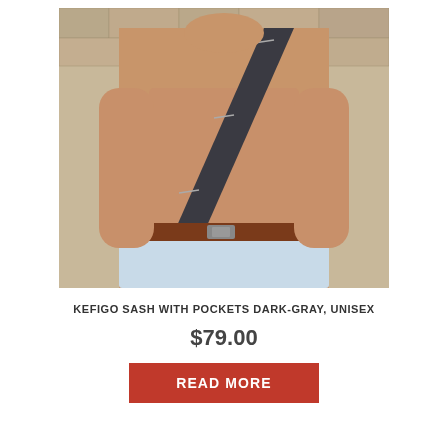[Figure (photo): A shirtless male model wearing a dark-gray diagonal sash/bag with pockets across his torso, wearing jeans with a brown leather belt, standing in front of a stone wall]
KEFIGO SASH WITH POCKETS DARK-GRAY, UNISEX
$79.00
READ MORE